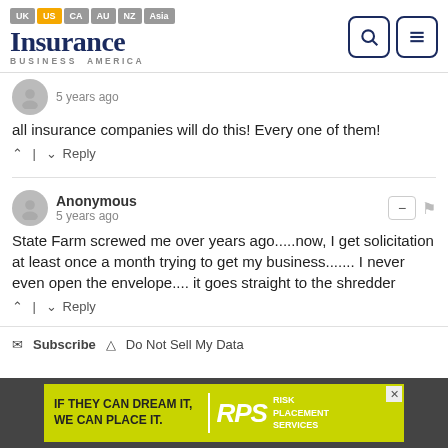[Figure (logo): Insurance Business America logo with navigation tabs UK, US, CA, AU, NZ, Asia and search/menu icons]
5 years ago
all insurance companies will do this! Every one of them!
^ | v Reply
Anonymous
5 years ago
State Farm screwed me over years ago.....now, I get solicitation at least once a month trying to get my business....... I never even open the envelope.... it goes straight to the shredder
^ | v Reply
Subscribe  Do Not Sell My Data
[Figure (illustration): RPS Risk Placement Services advertisement banner with yellow background and text IF THEY CAN DREAM IT, WE CAN PLACE IT.]